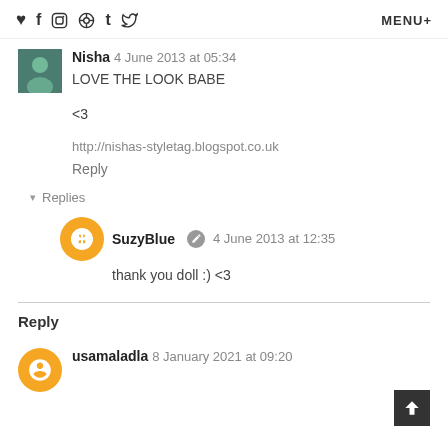♥ f ☷ ® t ✓  MENU+
Nisha 4 June 2013 at 05:34
LOVE THE LOOK BABE

<3

http://nishas-styletag.blogspot.co.uk
Reply
▾ Replies
SuzyBlue ✎ 4 June 2013 at 12:35
thank you doll :) <3
Reply
usamaladla 8 January 2021 at 09:20